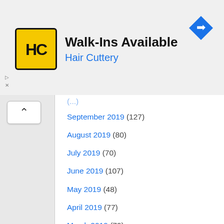[Figure (logo): Hair Cuttery HC logo — yellow square with black border, stylized HC letters in black]
Walk-Ins Available
Hair Cuttery
[Figure (illustration): Blue diamond-shaped navigation/directions icon with white right-turn arrow]
September 2019 (127)
August 2019 (80)
July 2019 (70)
June 2019 (107)
May 2019 (48)
April 2019 (77)
March 2019 (79)
February 2019 (45)
January 2019 (92)
December 2018 (87)
November 2018 (65)
October 2018 (62)